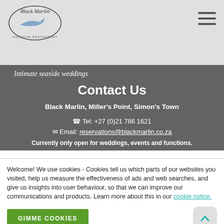Black Marlin - outdoor restaurant logo and navigation
[Figure (photo): Outdoor wedding setting with white chairs and draped tables, seaside venue]
Intimate seaside weddings
Contact Us
Black Marlin, Miller's Point, Simon's Town
☎ Tel: +27 (0)21 786 1621
✉ Email: reservations@blackmarlin.co.za
Currently only open for weddings, events and functions.
Welcome! We use cookies - Cookies tell us which parts of our websites you visited, help us measure the effectiveness of ads and web searches, and give us insights into user behaviour, so that we can improve our communications and products. Learn more about this in our cookie notice.
GIMME COOKIES